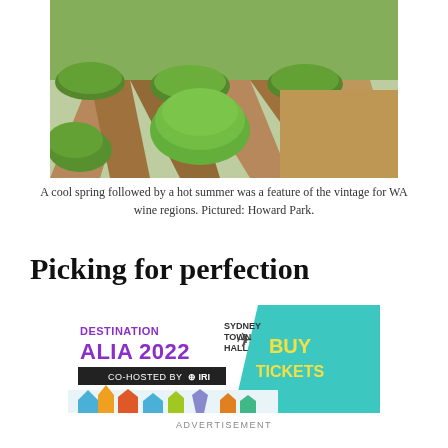[Figure (photo): Aerial view of vineyard rows with green leafy vines and reddish-brown soil between rows, photographed in bright sunlight.]
A cool spring followed by a hot summer was a feature of the vintage for WA wine regions. Pictured: Howard Park.
Picking for perfection
[Figure (other): Advertisement banner for Destination ALIA 2022 at Sydney Town Hall, co-hosted by IFLA and IRA, with 'BUY TICKETS' call to action on a teal background.]